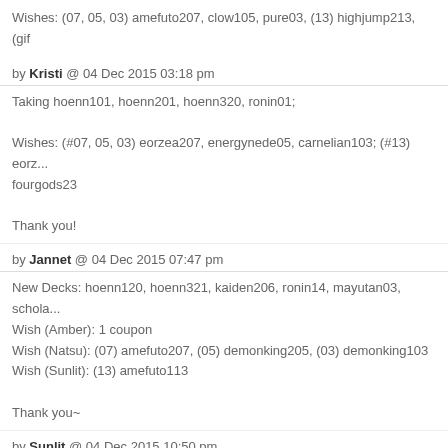Wishes: (07, 05, 03) amefuto207, clow105, pure03, (13) highjump213, (gif
by Kristi @ 04 Dec 2015 03:18 pm
Taking hoenn101, hoenn201, hoenn320, ronin01;

Wishes: (#07, 05, 03) eorzea207, energynede05, carnelian103; (#13) eorz... fourgods23

Thank you!
by Jannet @ 04 Dec 2015 07:47 pm
New Decks: hoenn120, hoenn321, kaiden206, ronin14, mayutan03, schola...
Wish (Amber): 1 coupon
Wish (Natsu): (07) amefuto207, (05) demonking205, (03) demonking103
Wish (Sunlit): (13) amefuto113

Thank you~
by Sunlit @ 04 Dec 2015 10:50 pm
New Decks: hoenn310, hoenn104, kaiden206, hoenn205